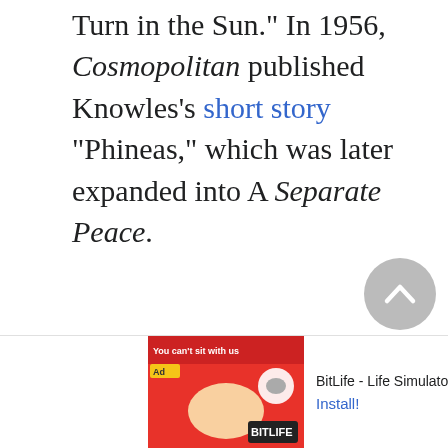Turn in the Sun." In 1956, Cosmopolitan published Knowles's short story "Phineas," which was later expanded into A Separate Peace.
By the middle 1950s, Knowles had become a member of the editorial staff of Holiday and was living in Philadelphia. He was also starting work on the novel that would become his most famous work: A Separate Peace.
[Figure (other): Back-to-top circular grey button with upward chevron arrow]
[Figure (other): Close button (X) in white square with border]
[Figure (other): Advertisement banner for BitLife - Life Simulator app. Shows 'Ad' label, red game image, and 'Install!' call to action link.]